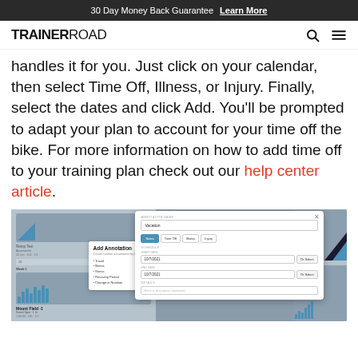30 Day Money Back Guarantee  Learn More
TRAINERROAD
handles it for you. Just click on your calendar, then select Time Off, Illness, or Injury. Finally, select the dates and click Add. You'll be prompted to adapt your plan to account for your time off the bike. For more information on how to add time off to your training plan check out our help center article.
[Figure (screenshot): Screenshot of TrainerRoad calendar interface showing an 'Add Annotation' panel with options for Travel, Illness, Notes, Recovery Period, Change in Nutrition and a modal dialog with fields for annotation name 'Vacation', tabs for Notes/Time Off/Illness/Injury, Schedule section with start date 10/7/2021 and end date 10/7/2021, and a Details section.]